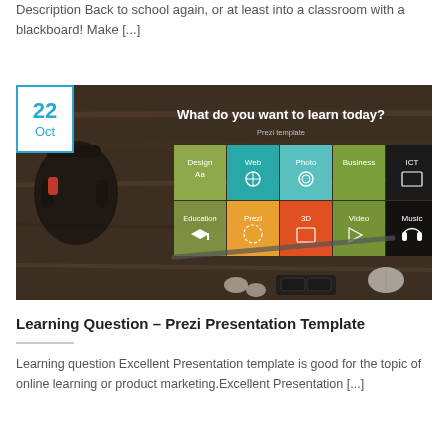Description Back to school again, or at least into a classroom with a blackboard! Make [...]
[Figure (screenshot): Prezi presentation template screenshot showing 'What do you want to learn today?' with a grid of learning categories: Design, Web, Photo, Business, ICT, Education, Prezi, 3D, Video, Music, overlaid on a dark wooden desk background with headphones, earphones, glasses, and a mouse.]
Learning Question – Prezi Presentation Template
Learning question Excellent Presentation template is good for the topic of online learning or product marketing.Excellent Presentation [...]